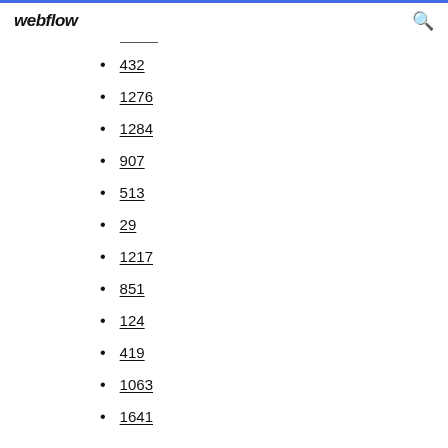webflow
432
1276
1284
907
513
29
1217
851
124
419
1063
1641